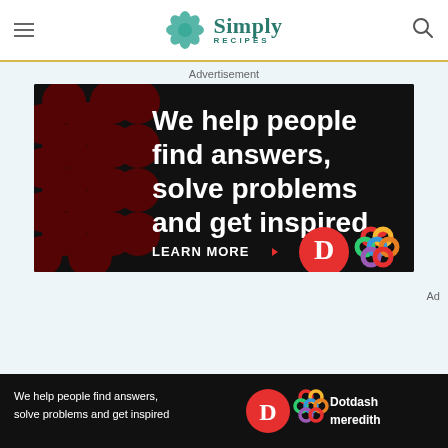Simply Recipes
Advertisement
[Figure (screenshot): Dotdash Meredith advertisement on black background with dark red polka dot pattern. Text: 'We help people find answers, solve problems and get inspired.' with LEARN MORE button and Dotdash (D) logo and Meredith colorful knot logo.]
[Figure (screenshot): Sticky bottom banner ad: 'We help people find answers, solve problems and get inspired.' with Dotdash D logo, colorful knot logo, and 'Dotdash meredith' text on black background.]